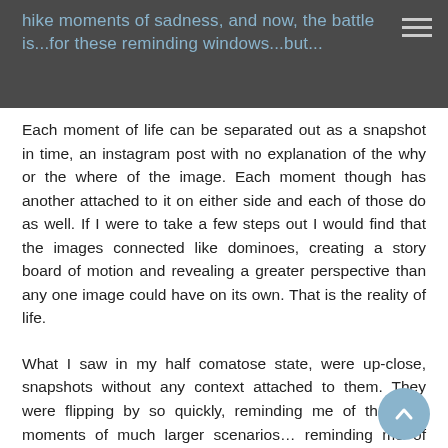hike moments of sadness, and now, the battle is...for these reminding windows...but...
Each moment of life can be separated out as a snapshot in time, an instagram post with no explanation of the why or the where of the image. Each moment though has another attached to it on either side and each of those do as well. If I were to take a few steps out I would find that the images connected like dominoes, creating a story board of motion and revealing a greater perspective than any one image could have on its own. That is the reality of life.
What I saw in my half comatose state, were up-close, snapshots without any context attached to them. They were flipping by so quickly, reminding me of the dark moments of much larger scenarios… reminding me of things that I could have done better!